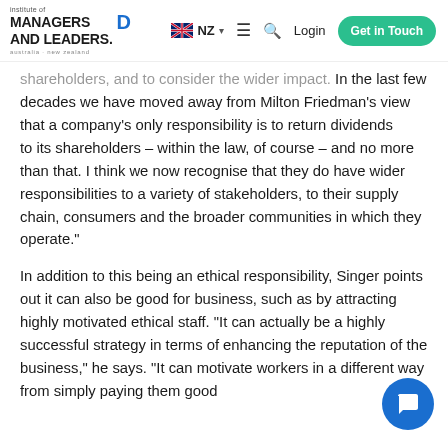Institute of Managers and Leaders. NZ. Login. Get in Touch.
shareholders, and to consider the wider impact. In the last few decades we have moved away from Milton Friedman’s view that a company’s only responsibility is to return dividends to its shareholders – within the law, of course – and no more than that. I think we now recognise that they do have wider responsibilities to a variety of stakeholders, to their supply chain, consumers and the broader communities in which they operate.”
In addition to this being an ethical responsibility, Singer points out it can also be good for business, such as by attracting highly motivated ethical staff. “It can actually be a highly successful strategy in terms of enhancing the reputation of the business,” he says. “It can motivate workers in a different way from simply paying them good